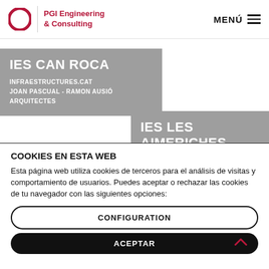PGI Engineering & Consulting | MENÚ
IES CAN ROCA
INFRAESTRUCTURES.CAT
JOAN PASCUAL - RAMON AUSIÓ ARQUITECTES
IES LES AIMERICHES
COOKIES EN ESTA WEB
Esta página web utiliza cookies de terceros para el análisis de visitas y comportamiento de usuarios. Puedes aceptar o rechazar las cookies de tu navegador con las siguientes opciones:
CONFIGURATION
ACEPTAR